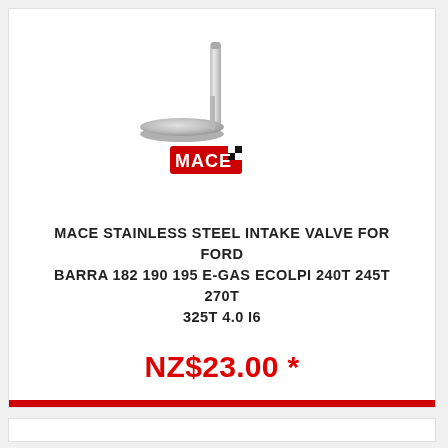[Figure (photo): A stainless steel intake valve with a flat disc head and long cylindrical stem, shown at an angle. Below the valve is the MACE brand logo in red with a checkered flag motif.]
MACE STAINLESS STEEL INTAKE VALVE FOR FORD BARRA 182 190 195 E-GAS ECOLPI 240T 245T 270T 325T 4.0 I6
NZ$23.00 *